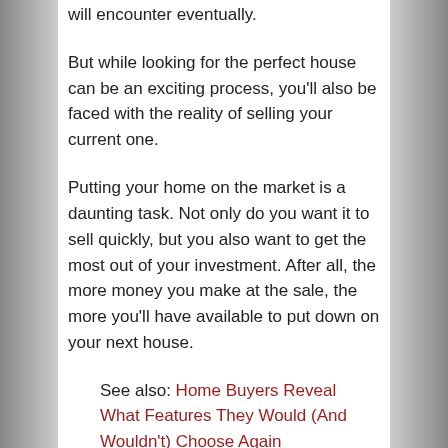will encounter eventually.
But while looking for the perfect house can be an exciting process, you’ll also be faced with the reality of selling your current one.
Putting your home on the market is a daunting task. Not only do you want it to sell quickly, but you also want to get the most out of your investment. After all, the more money you make at the sale, the more you’ll have available to put down on your next house.
See also: Home Buyers Reveal What Features They Would (And Wouldn’t) Choose Again